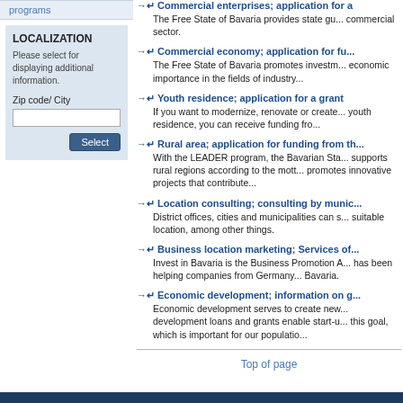programs
LOCALIZATION
Please select for displaying additional information.
Zip code/ City
Commercial enterprises; application for a... The Free State of Bavaria provides state gu... commercial sector.
Commercial economy; application for fu... The Free State of Bavaria promotes investm... economic importance in the fields of industry...
Youth residence; application for a grant. If you want to modernize, renovate or create... youth residence, you can receive funding fro...
Rural area; application for funding from th... With the LEADER program, the Bavarian Sta... supports rural regions according to the mott... promotes innovative projects that contribute...
Location consulting; consulting by munic... District offices, cities and municipalities can s... suitable location, among other things.
Business location marketing; Services of... Invest in Bavaria is the Business Promotion A... has been helping companies from Germany... Bavaria.
Economic development; information on g... Economic development serves to create new... development loans and grants enable start-u... this goal, which is important for our populatio...
Top of page